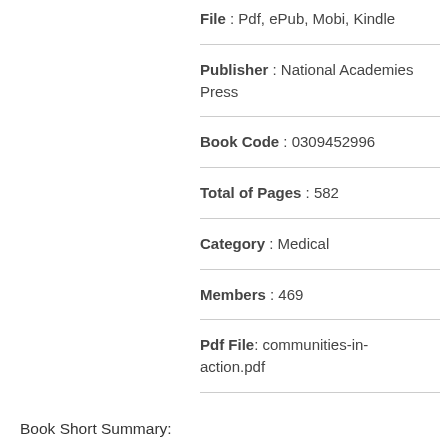File : Pdf, ePub, Mobi, Kindle
Publisher : National Academies Press
Book Code : 0309452996
Total of Pages : 582
Category : Medical
Members : 469
Pdf File: communities-in-action.pdf
Book Short Summary: